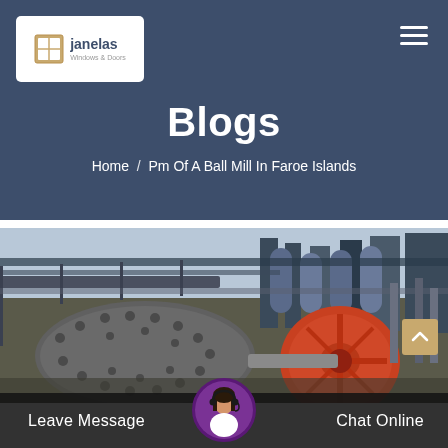[Figure (logo): Janelas Windows & Doors logo with window icon on white background]
Blogs
Home  /  Pm Of A Ball Mill In Faroe Islands
[Figure (photo): Industrial ball mill facility with large rotating drum equipment, orange/red flywheel, steel framework, and cylindrical tanks in background]
Leave Message
Chat Online